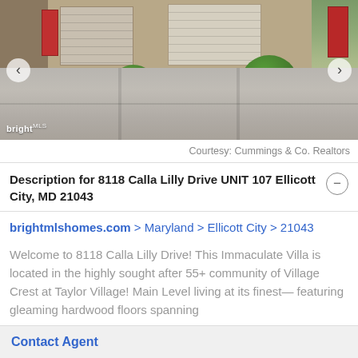[Figure (photo): Exterior photo of townhome/villa at 8118 Calla Lilly Drive, showing two garage doors, red entry doors, trimmed bushes, and concrete driveway. Bright MLS watermark visible.]
Courtesy: Cummings & Co. Realtors
Description for 8118 Calla Lilly Drive UNIT 107 Ellicott City, MD 21043
brightmlshomes.com > Maryland > Ellicott City > 21043
Welcome to 8118 Calla Lilly Drive! This Immaculate Villa is located in the highly sought after 55+ community of Village Crest at Taylor Village! Main Level living at its finest— featuring gleaming hardwood floors spanning
Contact Agent